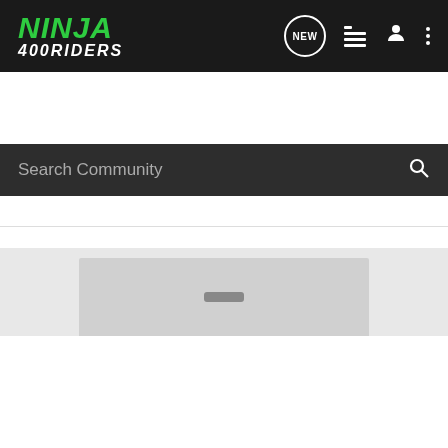NINJA 400RIDERS
Search Community
[Figure (photo): Partial motorcycle image, cropped at bottom of visible area]
My blog about my N400 and its transformation from street to track
Reply  Quote
SDM! · Registered 🇵🇭
Joined Jan 31, 2018 · 460 Posts
Discussion Starter · #2 · Apr 26, 2018
I like to use SBTG to order as you get store credit for buying so